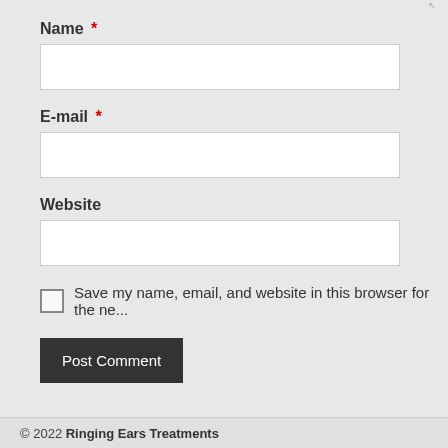Name *
[Figure (screenshot): Text input field for Name]
E-mail *
[Figure (screenshot): Text input field for E-mail]
Website
[Figure (screenshot): Text input field for Website]
Save my name, email, and website in this browser for the ne...
Post Comment
© 2022 Ringing Ears Treatments